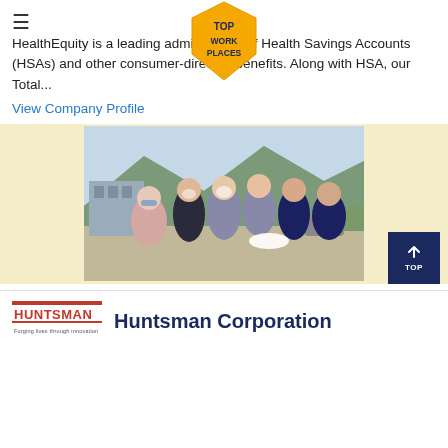[Figure (logo): Top Work Places badge/seal in gold/yellow hexagon shape with dark blue text]
HealthEquity is a leading administrator of Health Savings Accounts (HSAs) and other consumer-directed benefits. Along with HSA, our Total...
View Company Profile
[Figure (photo): Group of six people outdoors, some with white powder/foam on their faces, smiling, with mountains in the background]
[Figure (logo): Huntsman logo with tagline 'Forging lives through innovation']
Huntsman Corporation